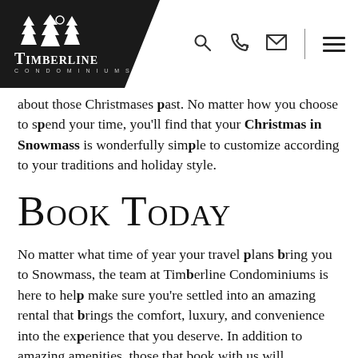[Figure (logo): Timberline Condominiums logo with pine trees and moon icon on black diagonal background]
Navigation icons: search, phone, email, divider, hamburger menu
about those Christmases past. No matter how you choose to spend your time, you'll find that your Christmas in Snowmass is wonderfully simple to customize according to your traditions and holiday style.
Book Today
No matter what time of year your travel plans bring you to Snowmass, the team at Timberline Condominiums is here to help make sure you're settled into an amazing rental that brings the comfort, luxury, and convenience into the experience that you deserve. In addition to amazing amenities, those that book with us will